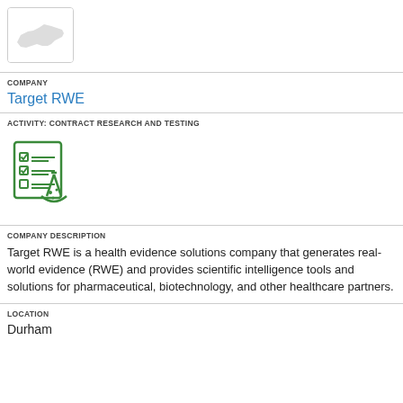[Figure (logo): Company logo placeholder showing a North Carolina state silhouette in light gray]
COMPANY
Target RWE
ACTIVITY: CONTRACT RESEARCH AND TESTING
[Figure (illustration): Green icon showing a checklist/clipboard with a laboratory flask/beaker]
COMPANY DESCRIPTION
Target RWE is a health evidence solutions company that generates real-world evidence (RWE) and provides scientific intelligence tools and solutions for pharmaceutical, biotechnology, and other healthcare partners.
LOCATION
Durham